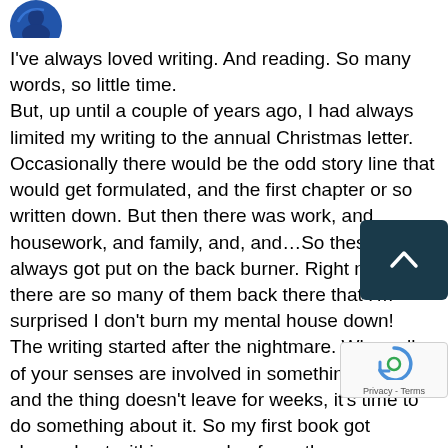[Figure (illustration): Circular avatar/profile image showing a silhouette figure with a blue background, partially visible at top left]
I've always loved writing. And reading. So many words, so little time.
But, up until a couple of years ago, I had always limited my writing to the annual Christmas letter. Occasionally there would be the odd story line that would get formulated, and the first chapter or so written down. But then there was work, and housework, and family, and, and...So these ideas always got put on the back burner. Right now, there are so many of them back there that I'm surprised I don't burn my mental house down!
The writing started after the nightmare. When all of your senses are involved in something like that, and the thing doesn't leave for weeks, it's time to do something about it. So my first book got churned out within a couple of months.
Not so much with the sequel. It had a large, energe start, but now it is drifting at anchor. I had a large distraction, in the form of having to be with my da three weeks while he recuperated from open-hear surgery. There's no writing for me when I have tha of responsibility. When I write, I disappear inside the